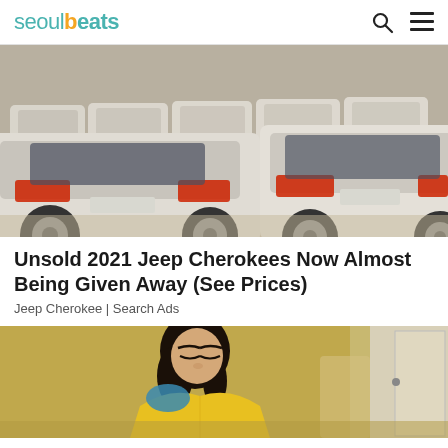seoulbeats
[Figure (photo): Rows of white cars parked in a lot, viewed from rear, dusty environment]
Unsold 2021 Jeep Cherokees Now Almost Being Given Away (See Prices)
Jeep Cherokee | Search Ads
[Figure (photo): Woman with dark hair wearing a yellow garment, indoors]